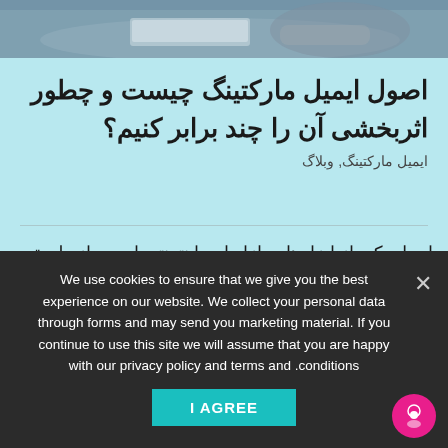[Figure (photo): Top portion of a photo showing a person at a desk with a laptop, partially cropped]
اصول ایمیل مارکتینگ چیست و چطور اثربخشی آن را چند برابر کنیم؟
ایمیل مارکتینگ, وبلاگ
ایمیل یکی از ابزارهای بازاریابی اینترنتی است. از طریق ایمیل مارکتینگ می‌توانید مخاطبین و مشتریان بالقوه زیادی را پیدا کنید و همچنین ارتباط خود با مخاطبین موجود خود را مستحکم
We use cookies to ensure that we give you the best experience on our website. We collect your personal data through forms and may send you marketing material. If you continue to use this site we will assume that you are happy with our privacy policy and terms and conditions.